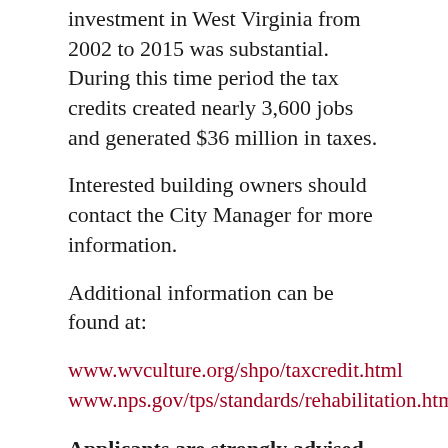investment in West Virginia from 2002 to 2015 was substantial. During this time period the tax credits created nearly 3,600 jobs and generated $36 million in taxes.
Interested building owners should contact the City Manager for more information.
Additional information can be found at:
www.wvculture.org/shpo/taxcredit.html
www.nps.gov/tps/standards/rehabilitation.htm
Applicants are strongly advised to consult the West Virginia State Historic Preservation Office before beginning the process.